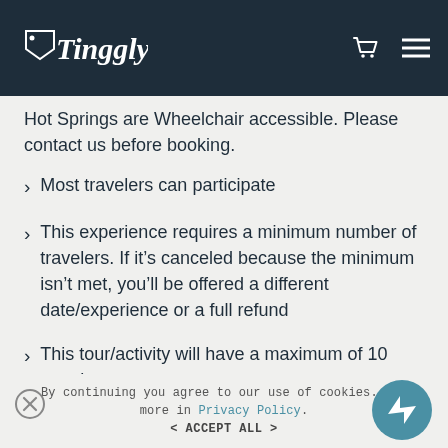Tinggly [logo with cart and menu icons]
Hot Springs are Wheelchair accessible. Please contact us before booking.
Most travelers can participate
This experience requires a minimum number of travelers. If it's canceled because the minimum isn't met, you'll be offered a different date/experience or a full refund
This tour/activity will have a maximum of 10 travelers
By continuing you agree to our use of cookies. Learn more in Privacy Policy.
< ACCEPT ALL >